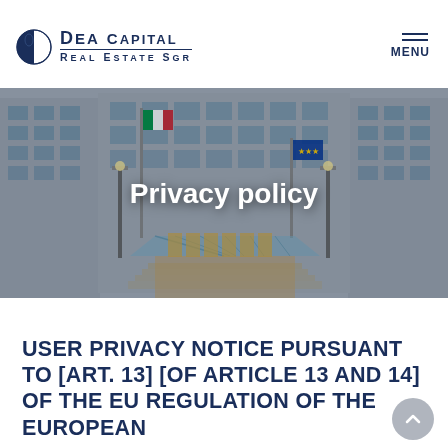DEA CAPITAL REAL ESTATE SGR | MENU
[Figure (photo): Exterior/interior courtyard photo of a modern office building with glass canopy entrance, Italian flag, and EU flag visible. Overlaid text reads 'Privacy policy'.]
USER PRIVACY NOTICE PURSUANT TO [ART. 13] [OF ARTICLE 13 AND 14] OF THE EU REGULATION OF THE EUROPEAN